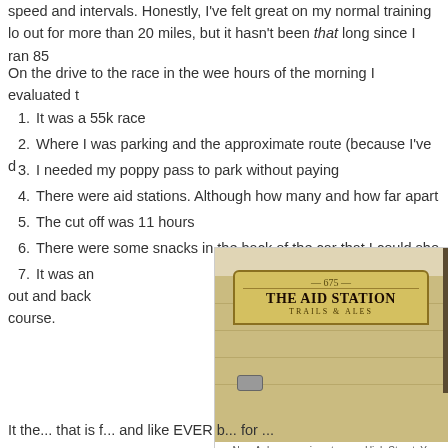speed and intervals. Honestly, I've felt great on my normal training lo... out for more than 20 miles, but it hasn't been that long since I ran 85...
On the drive to the race in the wee hours of the morning I evaluated t...
It was a 55k race
Where I was parking and the approximate route (because I've d...
I needed my poppy pass to park without paying
There were aid stations. Although how many and how far apart...
The cut off was 11 hours
There were some snacks in the back of the car that I could sho...
It was an out and back course.
[Figure (photo): Interior photo of The Aid Station (675), a running store on High Street in New Auburn, showing a wooden sign with the establishment name Trails & Ales.]
New Auburn running store on High Street. Yes, beer (and kombucha) on tap!
It the... that is f... and like EVER b... for ... ...and to ... d...